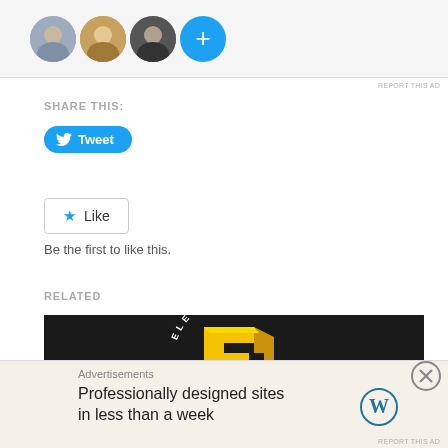[Figure (screenshot): Top portion of a webpage showing profile circle images (three person photos and a blue plus button) on a light gray background, part of an ad strip.]
REPORT THIS AD
SHARE THIS:
[Figure (illustration): Blue Twitter Tweet button with bird icon and 'Tweet' text.]
[Figure (illustration): WordPress Like button with blue star icon and 'Like' text, bordered box.]
Be the first to like this.
RELATED
[Figure (photo): Dark background image showing a yellow 3D letter/logo shape with circular text reading 'ELECTRO...T E...' — appears to be an E3 Electronic Entertainment Expo logo.]
Advertisements
Professionally designed sites in less than a week
[Figure (logo): WordPress logo (circle W icon) on the bottom advertisement.]
REPORT THIS AD